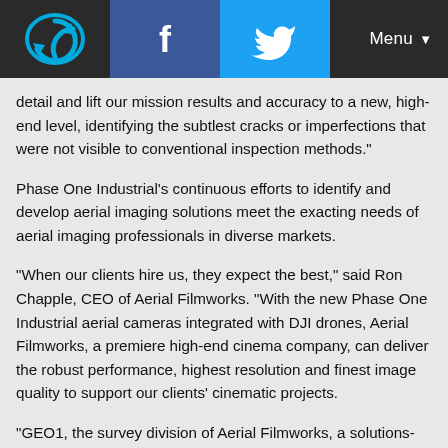Navigation bar with logo, Facebook, Twitter icons and Menu
detail and lift our mission results and accuracy to a new, high-end level, identifying the subtlest cracks or imperfections that were not visible to conventional inspection methods."
Phase One Industrial's continuous efforts to identify and develop aerial imaging solutions meet the exacting needs of aerial imaging professionals in diverse markets.
“When our clients hire us, they expect the best,” said Ron Chapple, CEO of Aerial Filmworks. “With the new Phase One Industrial aerial cameras integrated with DJI drones, Aerial Filmworks, a premiere high-end cinema company, can deliver the robust performance, highest resolution and finest image quality to support our clients’ cinematic projects.
“GEO1, the survey division of Aerial Filmworks, a solutions-driven provider in the electric and gas/oil marketplace, also benefits from this development. Now, we have the right solution to help satisfy our clients’ requirements for the high-resolution data and flight efficiencies.”